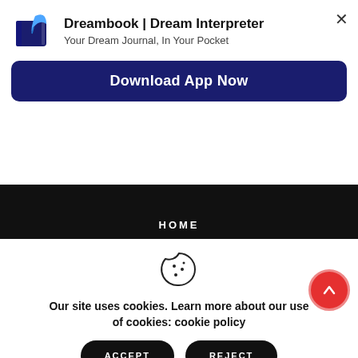[Figure (logo): Dreambook app icon: dark blue book with a blue feather quill]
Dreambook | Dream Interpreter
Your Dream Journal, In Your Pocket
Download App Now
HOME
[Figure (illustration): Cookie icon: circle with bite taken out and dots]
Our site uses cookies. Learn more about our use of cookies: cookie policy
ACCEPT
REJECT